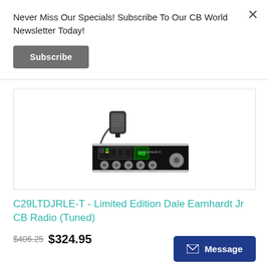Never Miss Our Specials! Subscribe To Our CB World Newsletter Today!
Subscribe
[Figure (photo): C29LTDJRLE-T Limited Edition Dale Earnhardt Jr CB Radio with microphone, black face with chrome knobs and digital channel display showing 40]
C29LTDJRLE-T - Limited Edition Dale Earnhardt Jr CB Radio (Tuned)
$406.25 $324.95
Message